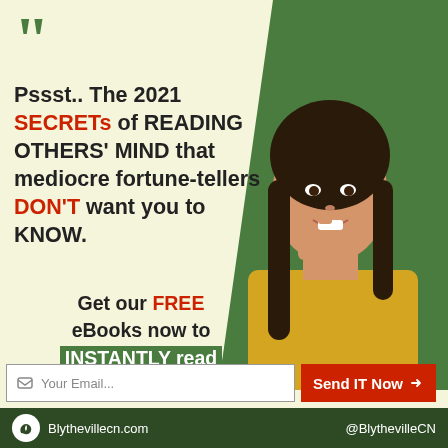[Figure (infographic): Promotional ad with cream left background, green right background, woman with finger to lips photo, quote marks, and email signup form.]
Pssst.. The 2021 SECRETs of READING OTHERS' MIND that mediocre fortune-tellers DON'T want you to KNOW.
Get our FREE eBooks now to INSTANTLY read people
Your Email...
Send IT Now
Blythevillecn.com  @BlythevilleCN